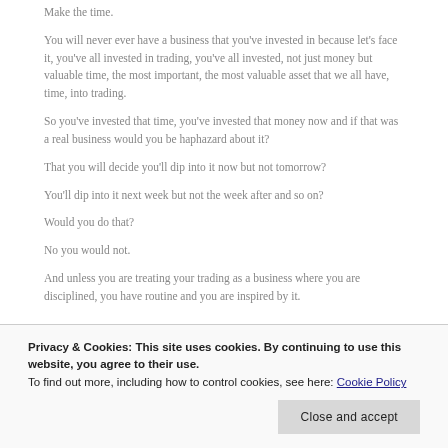Make the time.
You will never ever have a business that you've invested in because let's face it, you've all invested in trading, you've all invested, not just money but valuable time, the most important, the most valuable asset that we all have, time, into trading.
So you've invested that time, you've invested that money now and if that was a real business would you be haphazard about it?
That you will decide you'll dip into it now but not tomorrow?
You'll dip into it next week but not the week after and so on?
Would you do that?
No you would not.
And unless you are treating your trading as a business where you are disciplined, you have routine and you are inspired by it.
Privacy & Cookies: This site uses cookies. By continuing to use this website, you agree to their use.
To find out more, including how to control cookies, see here: Cookie Policy